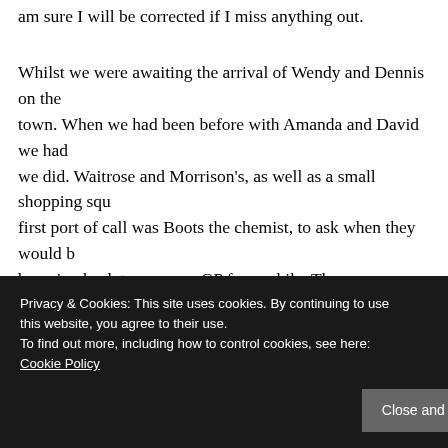am sure I will be corrected if I miss anything out.
Whilst we were awaiting the arrival of Wendy and Dennis on the town. When we had been before with Amanda and David we had we did. Waitrose and Morrison's, as well as a small shopping squ first port of call was Boots the chemist, to ask when they would b be going back to our own GP for a while. The answer from the ph away. What service, so we got them done and ticked that job off t shopping, and then made our way back to the marina. Wendy had midday from their home in Canterbury. They were expecting a 4 h it took them 7 hours! Luckily I had prepared dinner in readiness f wine.
Privacy & Cookies: This site uses cookies. By continuing to use this website, you agree to their use.
To find out more, including how to control cookies, see here:
Cookie Policy